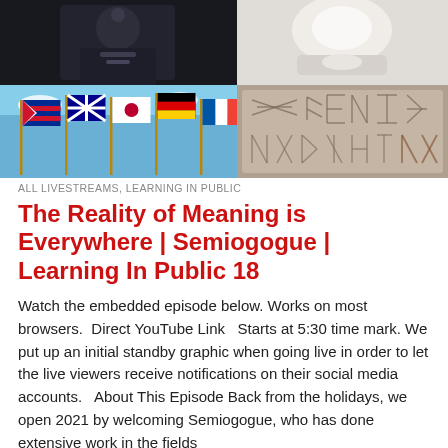[Figure (photo): Collage of images: top row has a dark image (person in dark uniform/coat) on the left and a light snowy/white image on the right; bottom row has a photo of multiple national flags flying against a blue sky on the left, and a stone carved with runic or ancient inscriptions on the right.]
ALL LIVESTREAMS, LEARNING IN PUBLIC
The Reality of Meaning is Everywhere | Semiogogue | Learning In Public 18
Watch the embedded episode below. Works on most browsers.  Direct YouTube Link   Starts at 5:30 time mark. We put up an initial standby graphic when going live in order to let the live viewers receive notifications on their social media accounts.   About This Episode Back from the holidays, we open 2021 by welcoming Semiogogue, who has done extensive work in the fields of Semiotics and...